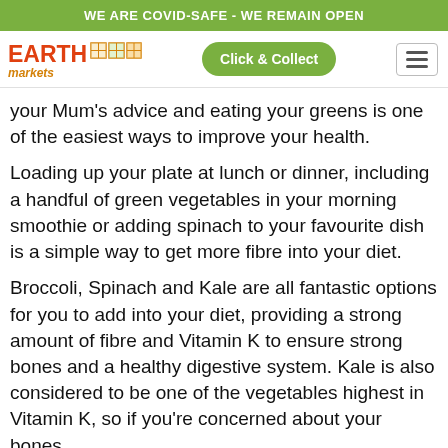WE ARE COVID-SAFE - WE REMAIN OPEN
[Figure (logo): Earth Markets logo with orange/red text and decorative squares, alongside a green 'Click & Collect' button and hamburger menu icon]
your Mum's advice and eating your greens is one of the easiest ways to improve your health.
Loading up your plate at lunch or dinner, including a handful of green vegetables in your morning smoothie or adding spinach to your favourite dish is a simple way to get more fibre into your diet.
Broccoli, Spinach and Kale are all fantastic options for you to add into your diet, providing a strong amount of fibre and Vitamin K to ensure strong bones and a healthy digestive system. Kale is also considered to be one of the vegetables highest in Vitamin K, so if you're concerned about your bones,